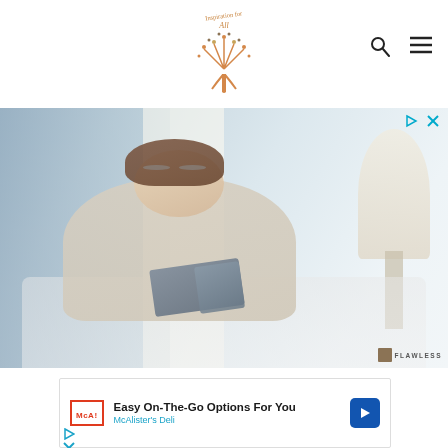Inspiration for All — site header with logo, search icon, and menu
[Figure (photo): Middle-aged woman with short brown hair and glasses, wearing a cream sweater, sitting on a white couch reading an open book. Background shows a bright room with a lamp. Flawless watermark in bottom right corner. Advertisement with play and close controls in top right.]
[Figure (infographic): Advertisement banner for McAlister's Deli: 'Easy On-The-Go Options For You' with McAlister's Deli logo in red, blue arrow icon, and teal 'McAlister's Deli' text. Play and close controls below left.]